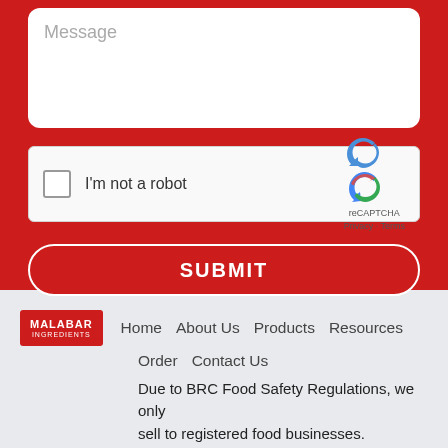[Figure (screenshot): Message textarea input field with placeholder text 'Message' on red background]
[Figure (screenshot): reCAPTCHA widget with checkbox and 'I'm not a robot' label, reCAPTCHA logo with Privacy and Terms links]
SUBMIT
[Figure (logo): Malabar Ingredients logo in red box with white text]
Home   About Us   Products   Resources
Order   Contact Us
Due to BRC Food Safety Regulations, we only sell to registered food businesses.